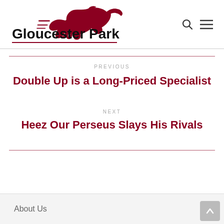[Figure (logo): Gloucester Park logo with a running horse in dark red/maroon and bold text 'Gloucester Park']
PREVIOUS
Double Up is a Long-Priced Specialist
NEXT
Heez Our Perseus Slays His Rivals
About Us